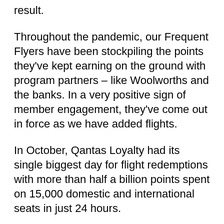result.
Throughout the pandemic, our Frequent Flyers have been stockpiling the points they've kept earning on the ground with program partners – like Woolworths and the banks. In a very positive sign of member engagement, they've come out in force as we have added flights.
In October, Qantas Loyalty had its single biggest day for flight redemptions with more than half a billion points spent on 15,000 domestic and international seats in just 24 hours.
A return to scale is good news for all customers, because it means we can reopen lounges and bring more aircraft back into service – including our flagship